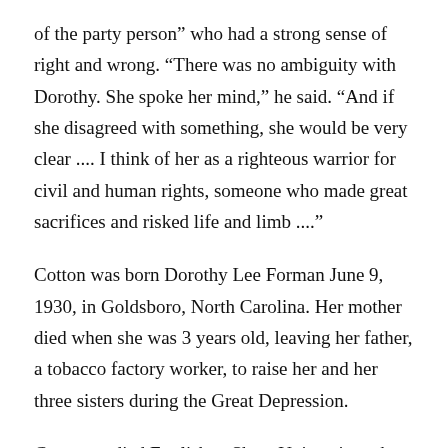of the party person” who had a strong sense of right and wrong. “There was no ambiguity with Dorothy. She spoke her mind,” he said. “And if she disagreed with something, she would be very clear .... I think of her as a righteous warrior for civil and human rights, someone who made great sacrifices and risked life and limb ....”
Cotton was born Dorothy Lee Forman June 9, 1930, in Goldsboro, North Carolina. Her mother died when she was 3 years old, leaving her father, a tobacco factory worker, to raise her and her three sisters during the Great Depression.
Cotton studied English at Shaw University, where she worked as the president’s housekeeper to pay for her